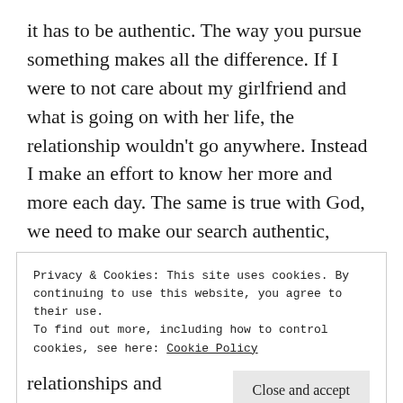it has to be authentic. The way you pursue something makes all the difference. If I were to not care about my girlfriend and what is going on with her life, the relationship wouldn't go anywhere. Instead I make an effort to know her more and more each day. The same is true with God, we need to make our search authentic, trying to know him more and grow with him. Last night at Vert (My church home of Daystars' youth group) I asked my students in small group what it looks like for them to search God. It was so awesome to see all the
Privacy & Cookies: This site uses cookies. By continuing to use this website, you agree to their use.
To find out more, including how to control cookies, see here: Cookie Policy
relationships and